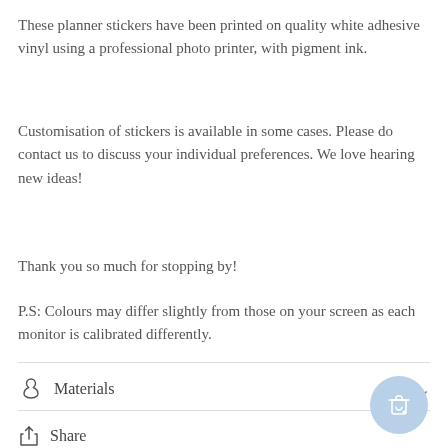These planner stickers have been printed on quality white adhesive vinyl using a professional photo printer, with pigment ink.
Customisation of stickers is available in some cases. Please do contact us to discuss your individual preferences. We love hearing new ideas!
Thank you so much for stopping by!
P.S: Colours may differ slightly from those on your screen as each monitor is calibrated differently.
Materials
Share